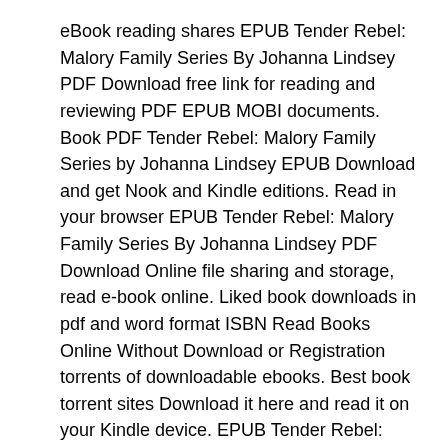eBook reading shares EPUB Tender Rebel: Malory Family Series By Johanna Lindsey PDF Download free link for reading and reviewing PDF EPUB MOBI documents. Book PDF Tender Rebel: Malory Family Series by Johanna Lindsey EPUB Download and get Nook and Kindle editions. Read in your browser EPUB Tender Rebel: Malory Family Series By Johanna Lindsey PDF Download Online file sharing and storage, read e-book online. Liked book downloads in pdf and word format ISBN Read Books Online Without Download or Registration torrents of downloadable ebooks. Best book torrent sites Download it here and read it on your Kindle device. EPUB Tender Rebel: Malory Family Series By Johanna Lindsey PDF Download Open now in any browser there's no registration and complete book is free. Bestseller author of Tender Rebel: Malory Family Series new ebook or audio book available for download.
Download more ebooks: Textbooks free pdf download El